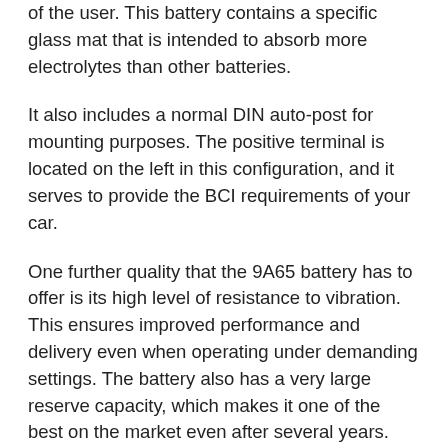of the user. This battery contains a specific glass mat that is intended to absorb more electrolytes than other batteries.
It also includes a normal DIN auto-post for mounting purposes. The positive terminal is located on the left in this configuration, and it serves to provide the BCI requirements of your car.
One further quality that the 9A65 battery has to offer is its high level of resistance to vibration. This ensures improved performance and delivery even when operating under demanding settings. The battery also has a very large reserve capacity, which makes it one of the best on the market even after several years.
This battery has a spill-proof design that allows you to put it in a variety of configurations without damaging it. It also has quick recharging capabilities, which means